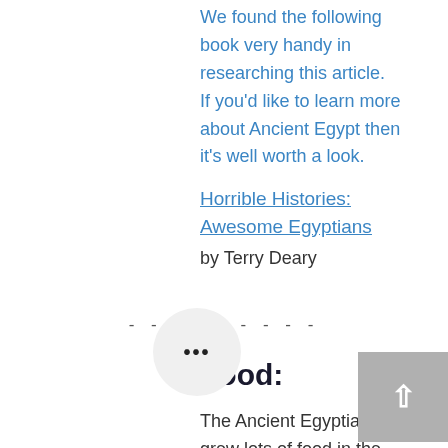We found the following book very handy in researching this article.
If you'd like to learn more about Ancient Egypt then it's well worth a look.
Horrible Histories: Awesome Egyptians
by Terry Deary
- - - - - - - - -
Food:
The Ancient Egyptians grew lots of food in the fertile soil next to the River Nile. such as vegetables (cabbages, onions, cucumbers, etc) and fruits (figs, melons, etc). But the most important crop was wheat, which they used to make bread...